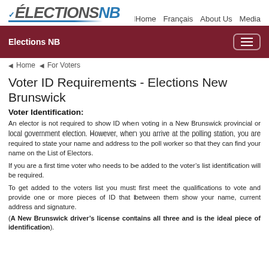[Figure (logo): Elections NB logo with checkmark and blue underline]
Home   Français   About Us   Media
Elections NB  [hamburger menu button]
◄ Home   ◄ For Voters
Voter ID Requirements - Elections New Brunswick
Voter Identification:
An elector is not required to show ID when voting in a New Brunswick provincial or local government election. However, when you arrive at the polling station, you are required to state your name and address to the poll worker so that they can find your name on the List of Electors.
If you are a first time voter who needs to be added to the voter's list identification will be required.
To get added to the voters list you must first meet the qualifications to vote and provide one or more pieces of ID that between them show your name, current address and signature.
(A New Brunswick driver's license contains all three and is the ideal piece of identification).